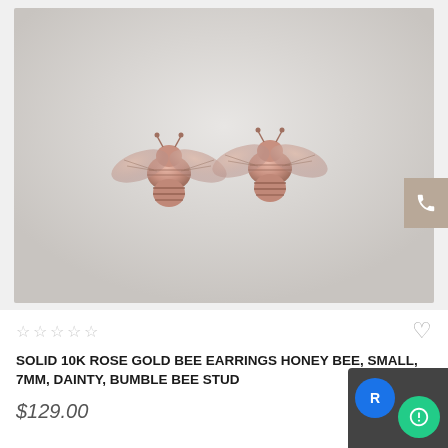[Figure (photo): Two rose gold bumble bee stud earrings photographed on a light grey/white background. The earrings are small and shiny, showing detailed wing and body texture in a warm rose gold color.]
☆☆☆☆☆
SOLID 10K ROSE GOLD BEE EARRINGS HONEY BEE, SMALL, 7MM, DAINTY, BUMBLE BEE STUD
$129.00